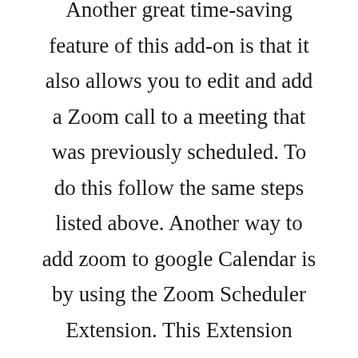Another great time-saving feature of this add-on is that it also allows you to edit and add a Zoom call to a meeting that was previously scheduled. To do this follow the same steps listed above. Another way to add zoom to google Calendar is by using the Zoom Scheduler Extension. This Extension empowers participants to schedule Zoom meetings using their Google Calendar. The meeting link and details are then sent as a Google Calendar invitation to other participants.